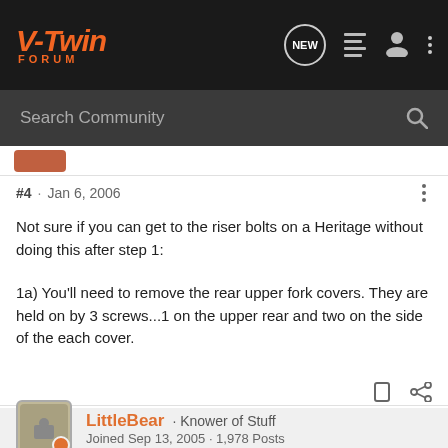[Figure (screenshot): V-Twin Forum navigation bar with logo and icons]
[Figure (screenshot): Search Community bar with magnifying glass icon]
#4 · Jan 6, 2006
Not sure if you can get to the riser bolts on a Heritage without doing this after step 1:
1a) You'll need to remove the rear upper fork covers. They are held on by 3 screws...1 on the upper rear and two on the side of the each cover.
LittleBear · Knower of Stuff
Joined Sep 13, 2005 · 1,978 Posts